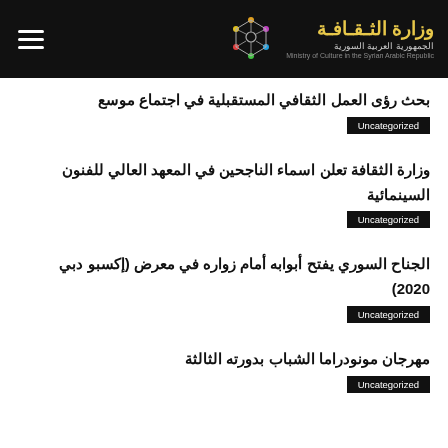وزارة الثـقـافـة - الجمهورية العربية السورية - Ministry of Culture in the Syrian Arabic Republic
بحث رؤى العمل الثقافي المستقبلية في اجتماع موسع
Uncategorized
وزارة الثقافة تعلن اسماء الناجحين في المعهد العالي للفنون السينمائية
Uncategorized
الجناح السوري يفتح أبوابه أمام زواره في معرض (إكسبو دبي 2020)
Uncategorized
مهرجان مونودراما الشباب بدورته الثالثة
Uncategorized